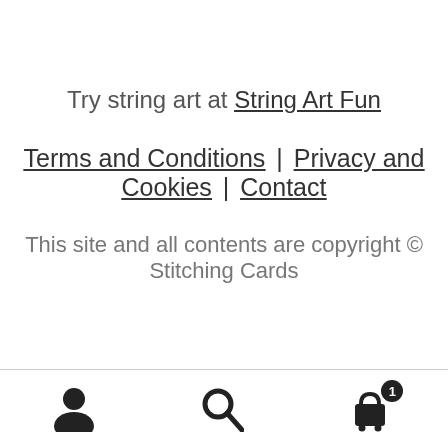Try string art at String Art Fun
Terms and Conditions | Privacy and Cookies | Contact
This site and all contents are copyright © Stitching Cards
User icon | Search icon | Cart icon with badge 1